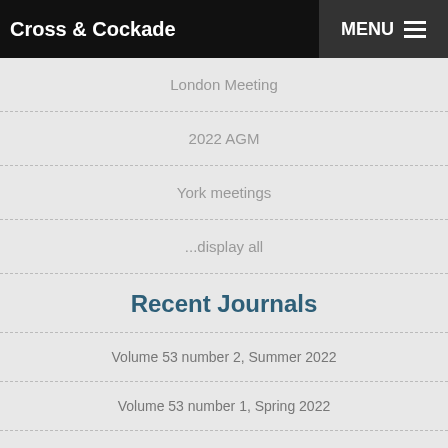Cross & Cockade | MENU
London Meeting
2022 AGM
York meetings
...display all
Recent Journals
Volume 53 number 2, Summer 2022
Volume 53 number 1, Spring 2022
Volume 52 number 4 Winter 2021
Volume 52 number 3 Autumn 2021